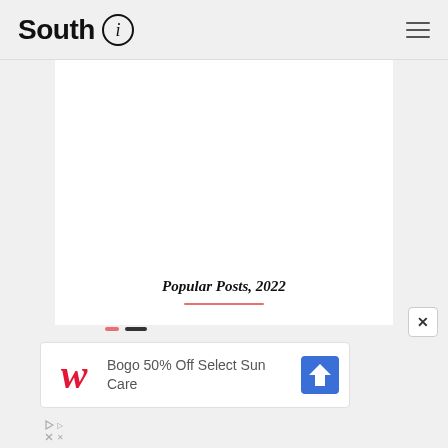South i
[Figure (other): White rectangle content area placeholder]
Popular Posts, 2022
[Figure (other): Advertisement: Walgreens Bogo 50% Off Select Sun Care with navigation arrow icon]